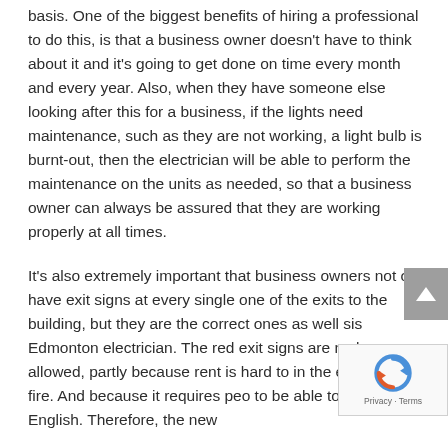basis. One of the biggest benefits of hiring a professional to do this, is that a business owner doesn't have to think about it and it's going to get done on time every month and every year. Also, when they have someone else looking after this for a business, if the lights need maintenance, such as they are not working, a light bulb is burnt-out, then the electrician will be able to perform the maintenance on the units as needed, so that a business owner can always be assured that they are working properly at all times.
It's also extremely important that business owners not only have exit signs at every single one of the exits to the building, but they are the correct ones as well sis Edmonton electrician. The red exit signs are no longer allowed, partly because rent is hard to in the event of a fire. And because it requires peo to be able to read English. Therefore, the new